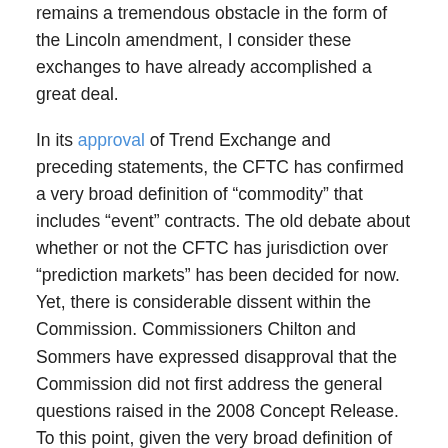remains a tremendous obstacle in the form of the Lincoln amendment, I consider these exchanges to have already accomplished a great deal.
In its approval of Trend Exchange and preceding statements, the CFTC has confirmed a very broad definition of &#8220;commodity&#8221; that includes &#8220;event&#8221; contracts. The old debate about whether or not the CFTC has jurisdiction over &#8220;prediction markets&#8221; has been decided for now. Yet, there is considerable dissent within the Commission. Commissioners Chilton and Sommers have expressed disapproval that the Commission did not first address the general questions raised in the 2008 Concept Release. To this point, given the very broad definition of &#8220;commodity,&#8221; it now seems that Intrade and online sports exchanges could be in violation of the Commodity Exchange Act. The Commission does not consider an &#8220;economic purpose test&#8221; in the contract review process, and there is no statutory basis for such a test being used in jurisdictional determinations. Perhaps as a matter of practice, in accordance with the spirit of the